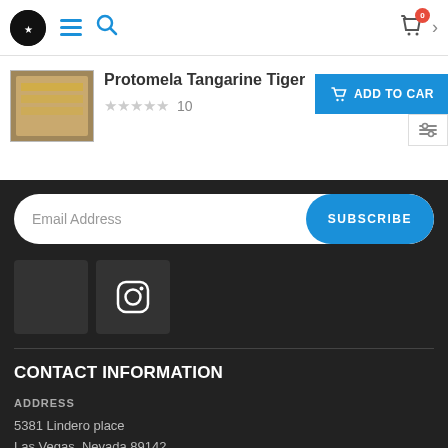Navigation header with logo, hamburger menu, search icon, cart (0), and chevron
Protomela Tangarine Tiger
★★★★★ 10
ADD TO CART
Email Address   SUBSCRIBE
[Figure (logo): Social media icons: dark square logo and Instagram icon]
CONTACT INFORMATION
ADDRESS
5381 Lindero place
Las Vegas, Nevada 89142